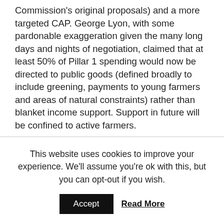Commission's original proposals) and a more targeted CAP. George Lyon, with some pardonable exaggeration given the many long days and nights of negotiation, claimed that at least 50% of Pillar 1 spending would now be directed to public goods (defined broadly to include greening, payments to young farmers and areas of natural constraints) rather than blanket income support. Support in future will be confined to active farmers.
The case for the opposition is that this CAP reform was a missed opportunity. The role of Pillar 1 payments in the overall CAP budget has been
This website uses cookies to improve your experience. We'll assume you're ok with this, but you can opt-out if you wish.
Accept   Read More